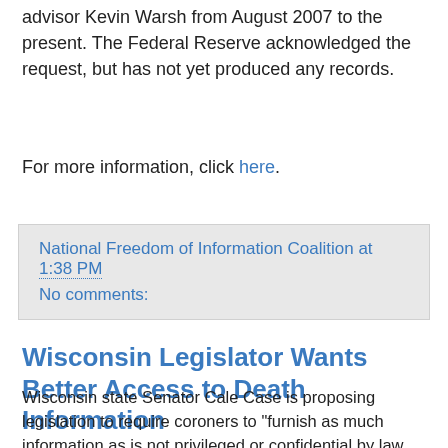advisor Kevin Warsh from August 2007 to the present. The Federal Reserve acknowledged the request, but has not yet produced any records.
For more information, click here.
National Freedom of Information Coalition at 1:38 PM
No comments:
Wisconsin Legislator Wants Better Access to Death Information
Wisconsin state Senator Cale Case is proposing legislation to require coroners to "furnish as much information as is not privileged or confidential by law and shall use redaction as necessary to allow the fullest disclosure authorized by law." Case says death investigations have become less accessible to the public as technology and investigative techniques improve, and notes that it's a matter of public